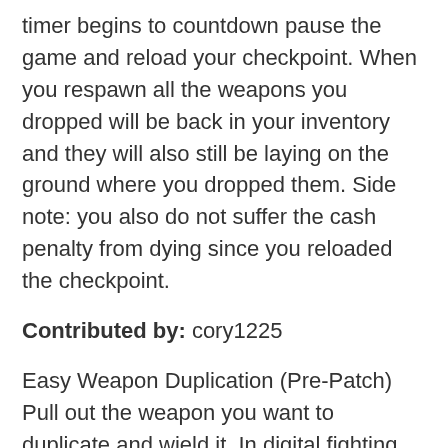timer begins to countdown pause the game and reload your checkpoint. When you respawn all the weapons you dropped will be back in your inventory and they will also still be laying on the ground where you dropped them. Side note: you also do not suffer the cash penalty from dying since you reloaded the checkpoint.
Contributed by: cory1225
Easy Weapon Duplication (Pre-Patch)
Pull out the weapon you want to duplicate and wield it. In digital fighting control scheme, hold the left trigger as if to throw the weapon, hit the Y button at the same time as you pull the right trigger to throw the weapon, if you time it right you will throw your weapon and drop a second copy at whatever the current durability of the weapon you dropped was. As a bonus keep double of your favorite weapon and use until it breaks, discard and copy the fully